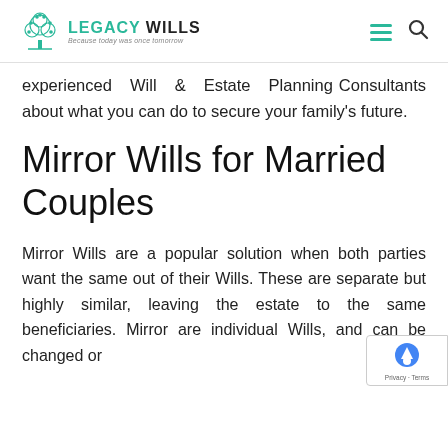Legacy Wills — Because today was once tomorrow
experienced Will & Estate Planning Consultants about what you can do to secure your family's future.
Mirror Wills for Married Couples
Mirror Wills are a popular solution when both parties want the same out of their Wills. These are separate but highly similar, leaving the estate to the same beneficiaries. Mirror are individual Wills, and can be changed or